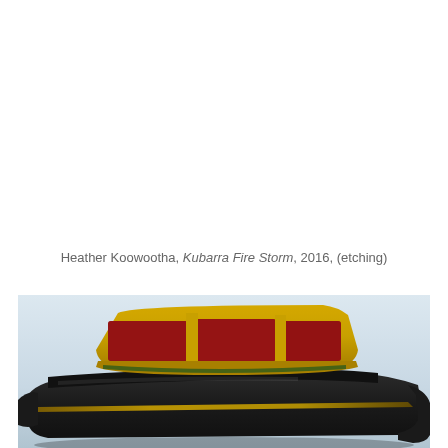Heather Koowootha, Kubarra Fire Storm, 2016, (etching)
[Figure (photo): Close-up photo of a sculptural artwork depicting a dark black car with a yellow and red stained-glass or enamel roof structure, viewed from the front-side angle against a light blue-grey background.]